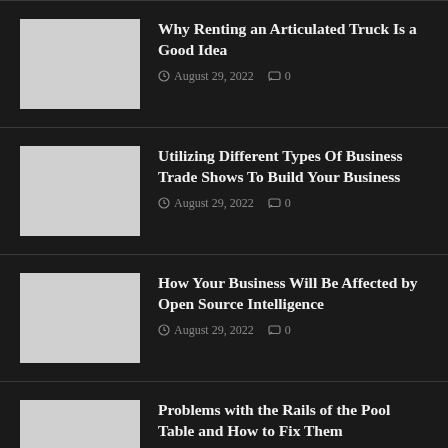Why Renting an Articulated Truck Is a Good Idea — August 29, 2022 — 0 comments
Utilizing Different Types Of Business Trade Shows To Build Your Business — August 29, 2022 — 0 comments
How Your Business Will Be Affected by Open Source Intelligence — August 29, 2022 — 0 comments
Problems with the Rails of the Pool Table and How to Fix Them — August 29, 2022 — 0 comments